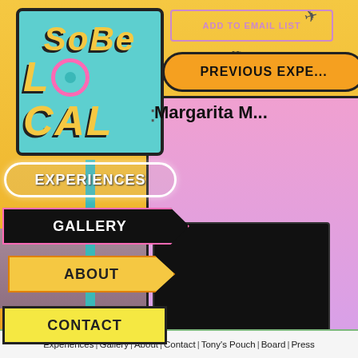[Figure (screenshot): SoBe Local website screenshot showing colorful illustrated navigation with SOBE LOCAL logo sign, nav buttons (EXPERIENCES, GALLERY, ABOUT, CONTACT), ADD TO EMAIL LIST button, PREVIOUS EXPERIENCES section header, Margarita M... listing on pink card with black video area, and footer navigation links]
Experiences | Gallery | About | Contact | Tony's Pouch | Board | Press